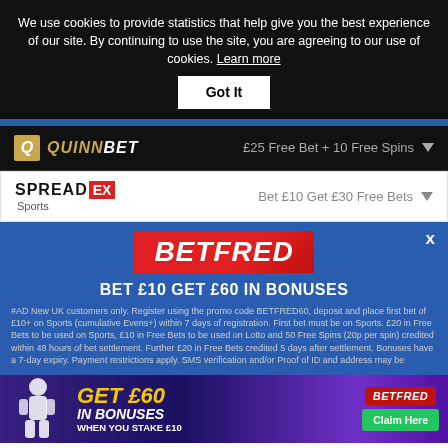We use cookies to provide statistics that help give you the best experience of our site. By continuing to use the site, you are agreeing to our use of cookies. Learn more
Got It
QUINNBET  £25 Free Bet + 10 Free Spins
SPREADEX Sports  Bet £10 Get £30 Free Bets
[Figure (screenshot): Betfred promotional overlay with logo, headline BET £10 GET £60 IN BONUSES, and terms text]
BET £10 GET £60 IN BONUSES
#AD New UK customers only. Register using the promo code BETFRED60, deposit and place first bet of £10+ on Sports (cumulative Evens+) within 7 days of registration. First bet must be on Sports. £20 in Free Bets to be used on Sports, £10 in Free Bets to be used on Lotto and 50 Free Spins (20p per spin) credited within 48 hours of bet settlement. Further £20 in Free Bets credited 5 days after settlement. Bonuses have a 7-day expiry. Payment restrictions apply. SMS verification and/or Proof of ID and address may be
[Figure (infographic): Betfred bottom ad banner: GET £60 IN BONUSES WHEN YOU STAKE £10 with Claim Here button]